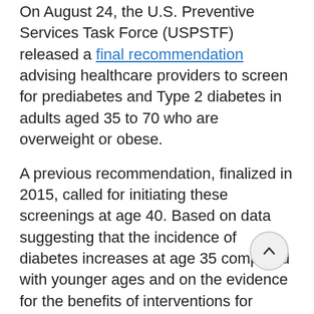On August 24, the U.S. Preventive Services Task Force (USPSTF) released a final recommendation advising healthcare providers to screen for prediabetes and Type 2 diabetes in adults aged 35 to 70 who are overweight or obese.
A previous recommendation, finalized in 2015, called for initiating these screenings at age 40. Based on data suggesting that the incidence of diabetes increases at age 35 compared with younger ages and on the evidence for the benefits of interventions for newly diagnosed diabetes (discussed below), the USPSTF has decreased the age at which to begin screening to 35.
As the evidence review by the USPSTF indicates, prediabetes and diabetes diagnoses have been steadily increasing among adults, with